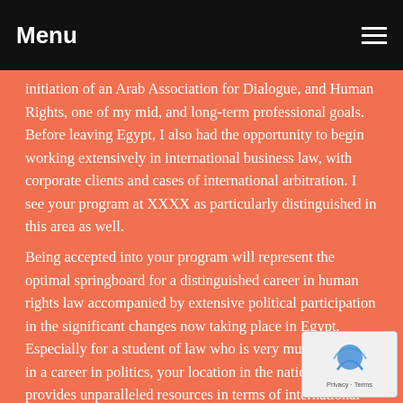Menu
initiation of an Arab Association for Dialogue, and Human Rights, one of my mid, and long-term professional goals. Before leaving Egypt, I also had the opportunity to begin working extensively in international business law, with corporate clients and cases of international arbitration. I see your program at XXXX as particularly distinguished in this area as well.

Being accepted into your program will represent the optimal springboard for a distinguished career in human rights law accompanied by extensive political participation in the significant changes now taking place in Egypt. Especially for a student of law who is very much interested in a career in politics, your location in the nation's capital provides unparalleled resources in terms of international relations and the networking and solidarity among political groups and non-governmental organizations. Some of the more progressive tendencies among American Muslims are also found in the Washington DC area. Being part of the Muslim contribution to interfaith dialogue is especially important to me